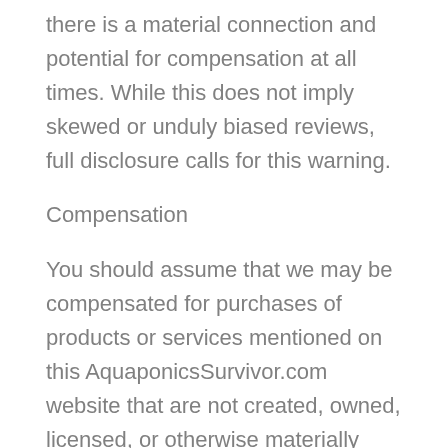there is a material connection and potential for compensation at all times. While this does not imply skewed or unduly biased reviews, full disclosure calls for this warning.
Compensation
You should assume that we may be compensated for purchases of products or services mentioned on this AquaponicsSurvivor.com website that are not created, owned, licensed, or otherwise materially controlled by us. Stated differently, while most people obviously understand that individuals make a living by way of the profit